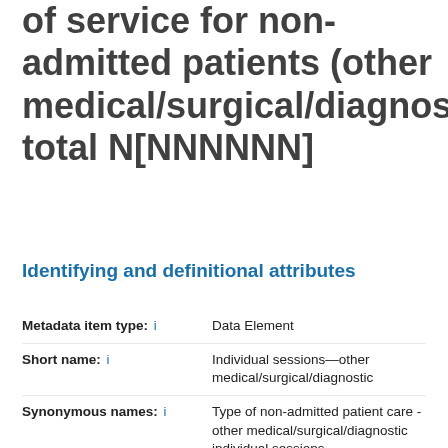of service for non-admitted patients (other medical/surgical/diagnostic), total N[NNNNNN]
Identifying and definitional attributes
Metadata item type: i   Data Element
Short name: i   Individual sessions—other medical/surgical/diagnostic
Synonymous names: i   Type of non-admitted patient care - other medical/surgical/diagnostic individual sessions
METEOR identifier: i   270511
Registration status: i   Health, Standard 01/03/2005
Definition: i   The total number of occasions of